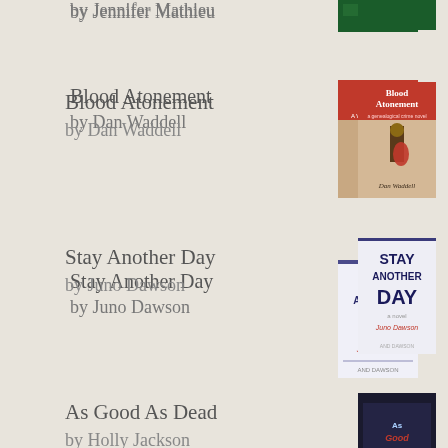by Jennifer Mathieu
[Figure (photo): Book cover of a novel, dark green background]
Blood Atonement
by Dan Waddell
[Figure (photo): Book cover of Blood Atonement by Dan Waddell]
Stay Another Day
by Juno Dawson
[Figure (photo): Book cover of Stay Another Day by Juno Dawson, white with bold text]
As Good As Dead
by Holly Jackson
[Figure (photo): Book cover of As Good As Dead by Holly Jackson, dark cover]
[Figure (logo): Goodreads logo button]
Advertisements
The Platform Where WordPress Works Best — Pressable